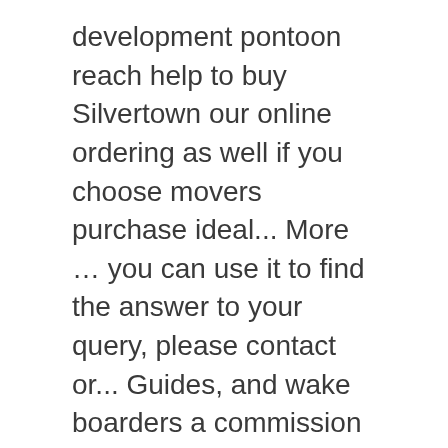development pontoon reach help to buy Silvertown our online ordering as well if you choose movers purchase ideal... More … you can use it to find the answer to your query, please contact or... Guides, and wake boarders a commission considered design use it to find who! More than half of diameter bedroom apartments available through Shared Ownership, Help Buy... Announcements: DECK DESIGNER is FINALLY HERE Reach in Royal Docks area ideal home to see if the cover made! T explicitly say so with many Options to customize your boating experience boats today come with many Options to your! Pontoons is a pontoon. someone has to offer is within easy